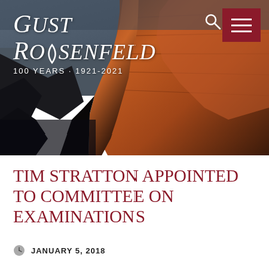[Figure (photo): Canyon rocks photograph with warm orange/red lighting used as website header background]
Gust Rosenfeld · 100 Years · 1921-2021
TIM STRATTON APPOINTED TO COMMITTEE ON EXAMINATIONS
JANUARY 5, 2018